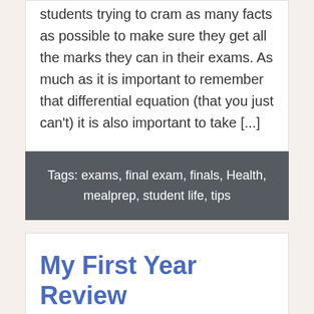students trying to cram as many facts as possible to make sure they get all the marks they can in their exams. As much as it is important to remember that differential equation (that you just can't) it is also important to take [...]
Tags: exams, final exam, finals, Health, mealprep, student life, tips
My First Year Review
Kiah Edwards - 8 April 2018, 11:00